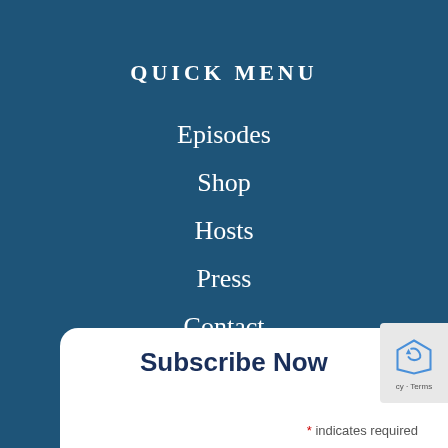QUICK MENU
Episodes
Shop
Hosts
Press
Contact
Subscribe Now
* indicates required